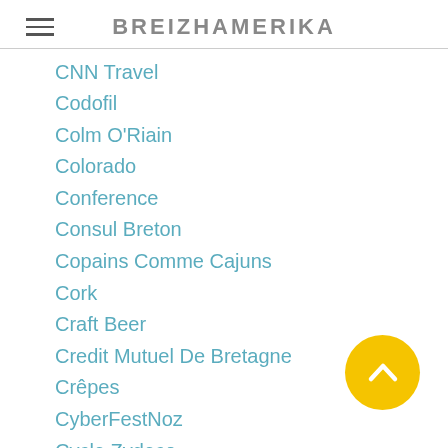BREIZHAMERIKA
CNN Travel
Codofil
Colm O'Riain
Colorado
Conference
Consul Breton
Copains Comme Cajuns
Cork
Craft Beer
Credit Mutuel De Bretagne
Crêpes
CyberFestNoz
Cycle Zydeco
Dazzl
Denver
Deomp Dei
Detroit